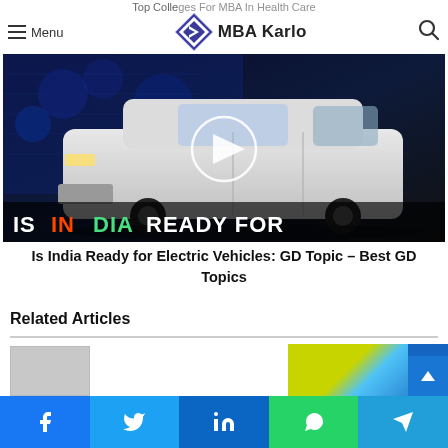Top Colleges For MBA In Health Care
Menu  MBA Karlo  🔍
[Figure (screenshot): Video thumbnail showing a white electric car (Tata Nexon EV style) with text overlay 'IS INDIA READY FOR' and a play button circle in the center. Background shows a dark cityscape with blue lighting.]
Is India Ready for Electric Vehicles: GD Topic – Best GD Topics
Related Articles
[Figure (screenshot): Partial view of related article thumbnails at bottom of page — one grey placeholder on left and a colorful blue/yellow image on right.]
Facebook  Twitter  LinkedIn  WhatsApp  Telegram